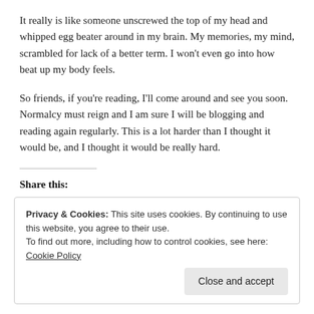It really is like someone unscrewed the top of my head and whipped egg beater around in my brain. My memories, my mind, scrambled for lack of a better term. I won’t even go into how beat up my body feels.
So friends, if you’re reading, I’ll come around and see you soon. Normalcy must reign and I am sure I will be blogging and reading again regularly. This is a lot harder than I thought it would be, and I thought it would be really hard.
Share this:
Print | Facebook | Tumblr | Pocket | Pinterest | Reddit | Email | LinkedIn | Twitter
Privacy & Cookies: This site uses cookies. By continuing to use this website, you agree to their use.
To find out more, including how to control cookies, see here: Cookie Policy
Close and accept